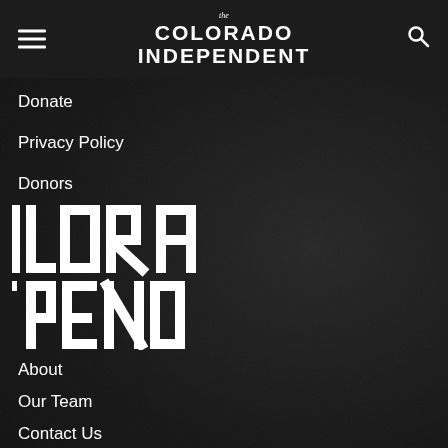The Colorado Independent
Donate
Privacy Policy
Donors
[Figure (logo): The Colorado Independent large logo partially visible: LORA / PEND]
About
Our Team
Contact Us
Events
Subscribe